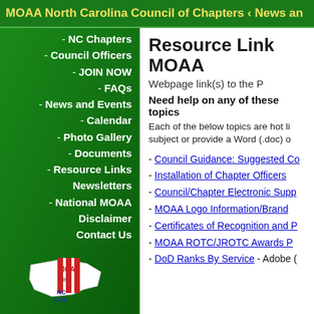MOAA North Carolina Council of Chapters ‹ News an
NC Chapters
Council Officers
JOIN NOW
FAQs
News and Events
Calendar
Photo Gallery
Documents
Resource Links
Newsletters
National MOAA
Disclaimer
Contact Us
[Figure (logo): MOAA NC COC logo with North Carolina state outline and MOAA flag insignia]
Resource Link MOAA
Webpage link(s) to the P
Need help on any of these topics
Each of the below topics are hot li subject or provide a Word (.doc) o
- Council Guidance: Suggested Co
- Installation of Chapter Officers
- Council/Chapter Electronic Supp
- MOAA Logo Information/Brand
- Certificates of Recognition and P
- MOAA ROTC/JROTC Awards P
- DoD Ranks By Service - Adobe (